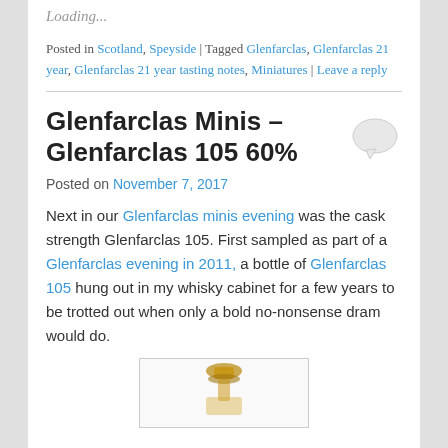Loading...
Posted in Scotland, Speyside | Tagged Glenfarclas, Glenfarclas 21 year, Glenfarclas 21 year tasting notes, Miniatures | Leave a reply
Glenfarclas Minis – Glenfarclas 105 60%
Posted on November 7, 2017
Next in our Glenfarclas minis evening was the cask strength Glenfarclas 105. First sampled as part of a Glenfarclas evening in 2011, a bottle of Glenfarclas 105 hung out in my whisky cabinet for a few years to be trotted out when only a bold no-nonsense dram would do.
[Figure (photo): Miniature bottle of Glenfarclas 105, partially visible at bottom of frame]